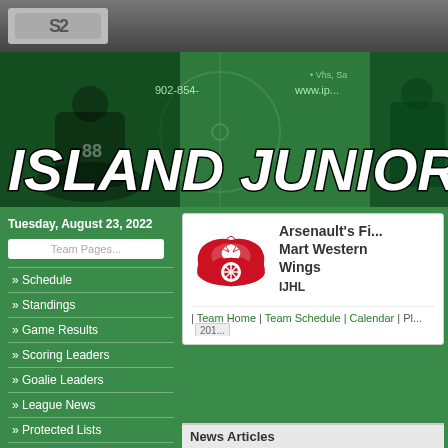[Figure (screenshot): Top navigation bar with logo S2 on dark gradient background]
[Figure (illustration): Island Junior hockey banner with green tinted hockey players and large italic white text 'ISLAND JUNIOR']
Tuesday, August 23, 2022
Team Pages...
» Schedule
» Standings
» Game Results
» Scoring Leaders
» Goalie Leaders
» League News
» Protected Lists
[Figure (logo): Detroit Red Wings logo - red winged wheel]
Arsenault's Fi... Mart Western Wings
IJHL
| Team Home | Team Schedule | Calendar | Pl... 201...
News Articles